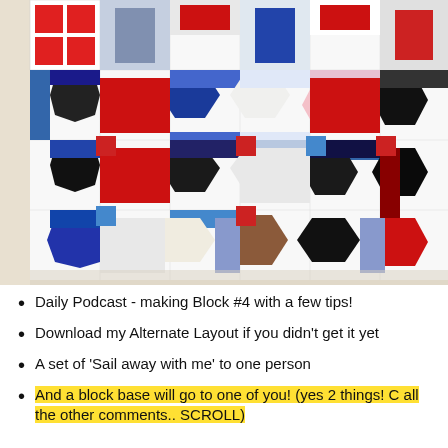[Figure (photo): A colorful patchwork quilt laid flat, showing a double wedding ring or chain-link pattern with red, blue, black, white, and pink fabric pieces arranged in interlocking octagonal rings.]
Daily Podcast - making Block #4 with a few tips!
Download my Alternate Layout if you didn't get it yet
A set of 'Sail away with me' to one person
And a block base will go to one of you! (yes 2 things! C all the other comments.. SCROLL)